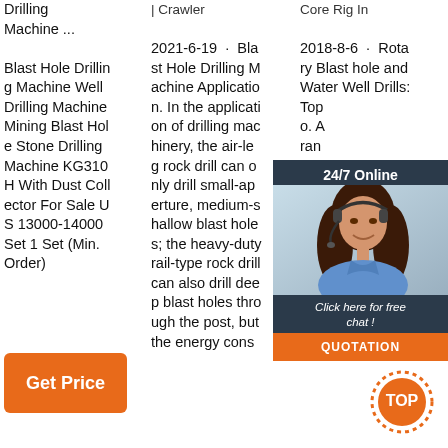Drilling Machine ... Blast Hole Drilling Machine Well Drilling Machine Mining Blast Hole Stone Drilling Machine KG310H With Dust Collector For Sale US 13000-14000 Set 1 Set (Min. Order)
2021-6-19 · Blast Hole Drilling Machine Application. In the application of drilling machinery, the air-leg rock drill can only drill small-aperture, medium-shallow blast holes; the heavy-duty rail-type rock drill can also drill deep blast holes through the post, but the energy cons
2018-8-6 · Rotary Blast hole and Water Well Drills: Top o. A range, crawler, he d drill, eve wee op-hammer, Atlas Copco's patented COPROD® system, or down-the-hole drilling m
[Figure (photo): Customer service chat widget with a woman wearing a headset, '24/7 Online' header, 'Click here for free chat!' text, and an orange QUOTATION button]
[Figure (other): Orange TOP badge with dotted circle decoration at bottom right]
Get Price